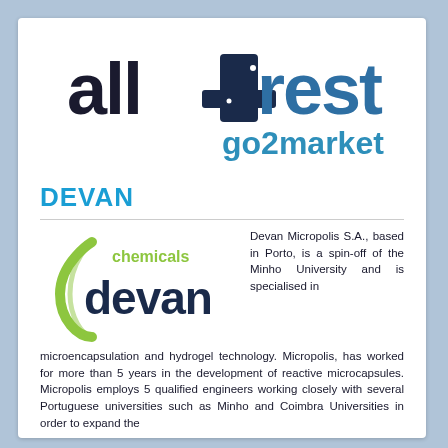[Figure (logo): all4rest go2market logo — stylized text 'all4rest' in dark navy/black with a crescent moon and stars as the '4', and 'go2market' below in blue]
DEVAN
[Figure (logo): Devan Chemicals logo — green curved line forming a flask/retort shape on the left, with 'chemicals' in green and 'devan' in dark navy text]
Devan Micropolis S.A., based in Porto, is a spin-off of the Minho University and is specialised in microencapsulation and hydrogel technology. Micropolis, has worked for more than 5 years in the development of reactive microcapsules. Micropolis employs 5 qualified engineers working closely with several Portuguese universities such as Minho and Coimbra Universities in order to expand the